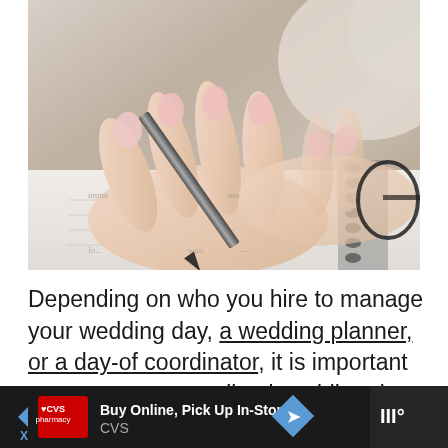[Figure (photo): Close-up photo of a woman's hands with light pink manicured nails writing in a spiral notebook with a fountain pen. A pair of black-rimmed glasses is visible in the upper right corner of the image.]
Depending on who you hire to manage your wedding day, a wedding planner, or a day-of coordinator, it is important to create a personalized wedding day timeline with them.
[Figure (other): Advertisement banner: CVS Pharmacy ad reading 'Buy Online, Pick Up In-Store' with CVS logo, navigation arrows, and a blue diamond direction icon.]